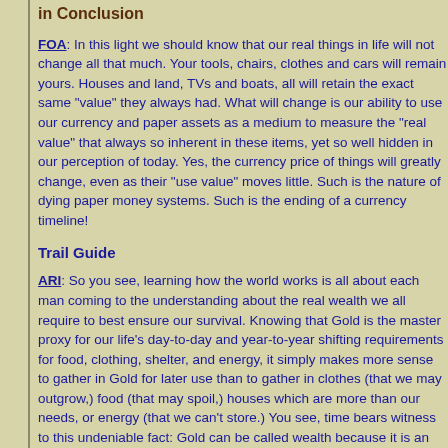in Conclusion
FOA: In this light we should know that our real things in life will not change all that much. Your tools, chairs, clothes and cars will remain yours. Houses and land, TVs and boats, all will retain the exact same "value" they always had. What will change is our ability to use our currency and paper assets as a medium to measure the "real value" that always so inherent in these items, yet so well hidden in our perception of today. Yes, the currency price of things will greatly change, even as their "use value" moves little. Such is the nature of dying paper money systems. Such is the ending of a currency timeline!
Trail Guide
ARI: So you see, learning how the world works is all about each man coming to the understanding about the real wealth we all require to best ensure our survival. Knowing that Gold is the master proxy for our life's day-to-day and year-to-year shifting requirements for food, clothing, shelter, and energy, it simply makes more sense to gather in Gold for later use than to gather in clothes (that we may outgrow,) food (that may spoil,) houses which are more than our needs, or energy (that we can't store.) You see, time bears witness to this undeniable fact: Gold can be called wealth because it is an enduring wealth proxy in exchange for our life's needs. Currency, on the other hand, serves a specific modern economic